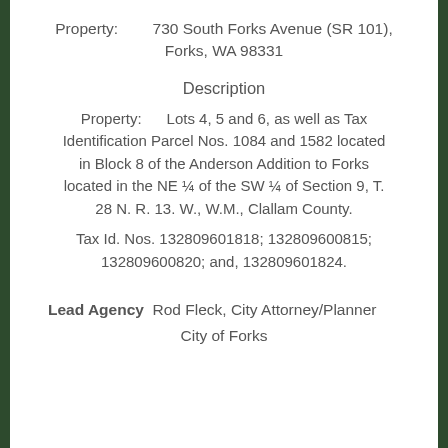Property:        730 South Forks Avenue (SR 101), Forks, WA 98331
Description
Property:        Lots 4, 5 and 6, as well as Tax Identification Parcel Nos. 1084 and 1582 located in Block 8 of the Anderson Addition to Forks located in the NE ¼ of the SW ¼ of Section 9, T. 28 N. R. 13. W., W.M., Clallam County.
Tax Id. Nos. 132809601818; 132809600815; 132809600820; and, 132809601824.
Lead Agency  Rod Fleck, City Attorney/Planner
City of Forks